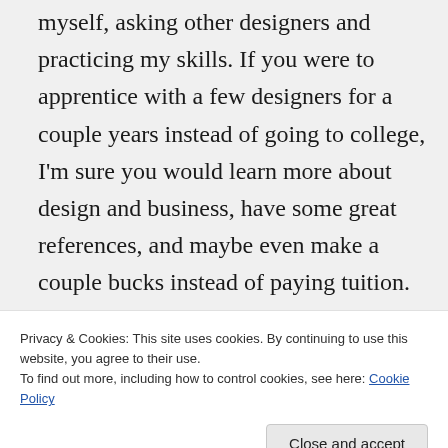myself, asking other designers and practicing my skills. If you were to apprentice with a few designers for a couple years instead of going to college, I'm sure you would learn more about design and business, have some great references, and maybe even make a couple bucks instead of paying tuition. You can always take classes at community college for particular skills like design software or sewing techniques.
Privacy & Cookies: This site uses cookies. By continuing to use this website, you agree to their use. To find out more, including how to control cookies, see here: Cookie Policy
Just keep designing and document your